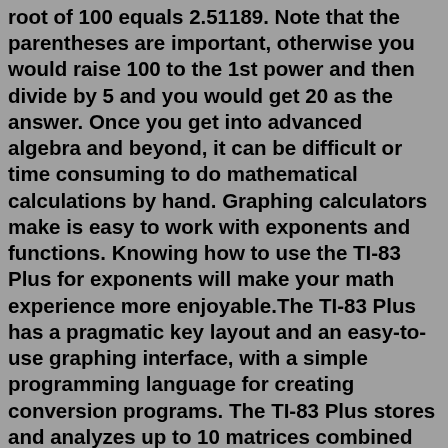root of 100 equals 2.51189. Note that the parentheses are important, otherwise you would raise 100 to the 1st power and then divide by 5 and you would get 20 as the answer. Once you get into advanced algebra and beyond, it can be difficult or time consuming to do mathematical calculations by hand. Graphing calculators make is easy to work with exponents and functions. Knowing how to use the TI-83 Plus for exponents will make your math experience more enjoyable.The TI-83 Plus has a pragmatic key layout and an easy-to-use graphing interface, with a simple programming language for creating conversion programs. The TI-83 Plus stores and analyzes up to 10 matrices combined with data storage in lists containing up to 999 elements per list. You can also solve equations interactively for different variables.The original TI-83 (1996), the TI-83 Plus (1999) and the most recent TI-83 Plus Silver Edition(2001). TI-83 Plus Silver Edition The TI-83 Plus Silver Edition is the best TI-83 calculator: It has the most memory (1.5MB of Flash Memory and 96KB